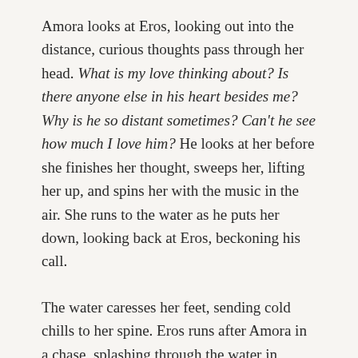Amora looks at Eros, looking out into the distance, curious thoughts pass through her head. What is my love thinking about? Is there anyone else in his heart besides me? Why is he so distant sometimes? Can't he see how much I love him? He looks at her before she finishes her thought, sweeps her, lifting her up, and spins her with the music in the air. She runs to the water as he puts her down, looking back at Eros, beckoning his call.
The water caresses her feet, sending cold chills to her spine. Eros runs after Amora in a chase, splashing through the water in desperate anticipation—running and playing, so free and wild, smiling and